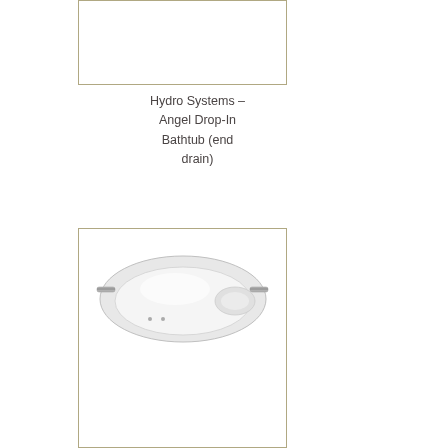[Figure (other): Empty bordered rectangle, placeholder image box for bathtub product]
Hydro Systems – Angel Drop-In Bathtub (end drain)
[Figure (photo): Photo of a white drop-in bathtub with chrome handles/rails, viewed from above at an angle, inside a bordered rectangle frame]